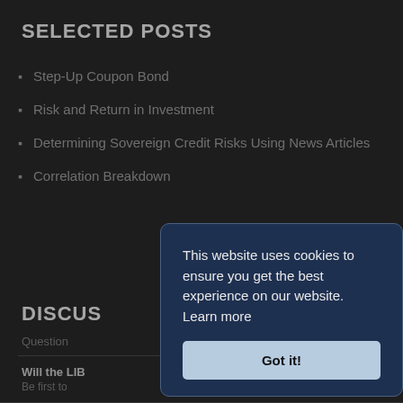SELECTED POSTS
Step-Up Coupon Bond
Risk and Return in Investment
Determining Sovereign Credit Risks Using News Articles
Correlation Breakdown
DISCUS
Question
Will the LIB
Be first to
This website uses cookies to ensure you get the best experience on our website. Learn more
Got it!